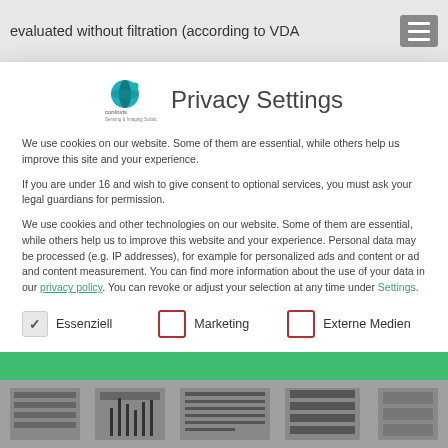evaluated without filtration (according to VDA
Privacy Settings
We use cookies on our website. Some of them are essential, while others help us improve this site and your experience.
If you are under 16 and wish to give consent to optional services, you must ask your legal guardians for permission.
We use cookies and other technologies on our website. Some of them are essential, while others help us to improve this website and your experience. Personal data may be processed (e.g. IP addresses), for example for personalized ads and content or ad and content measurement. You can find more information about the use of your data in our privacy policy. You can revoke or adjust your selection at any time under Settings.
Essenziell
Marketing
Externe Medien